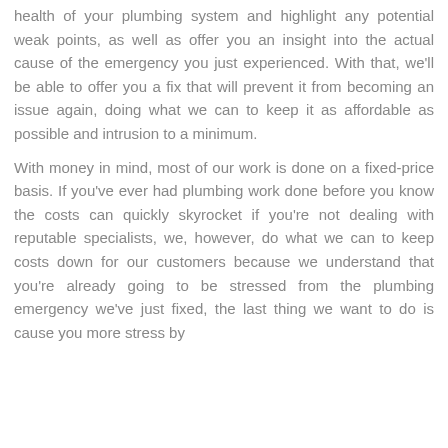health of your plumbing system and highlight any potential weak points, as well as offer you an insight into the actual cause of the emergency you just experienced. With that, we'll be able to offer you a fix that will prevent it from becoming an issue again, doing what we can to keep it as affordable as possible and intrusion to a minimum.

With money in mind, most of our work is done on a fixed-price basis. If you've ever had plumbing work done before you know the costs can quickly skyrocket if you're not dealing with reputable specialists, we, however, do what we can to keep costs down for our customers because we understand that you're already going to be stressed from the plumbing emergency we've just fixed, the last thing we want to do is cause you more stress by